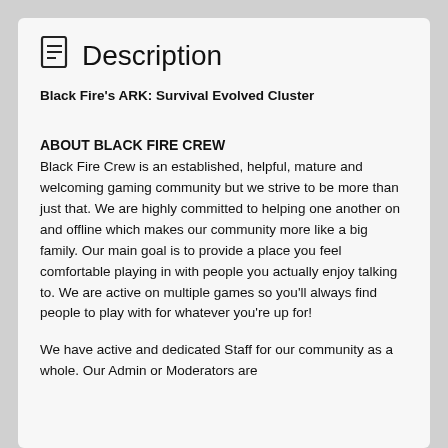Description
Black Fire's ARK: Survival Evolved Cluster
ABOUT BLACK FIRE CREW
Black Fire Crew is an established, helpful, mature and welcoming gaming community but we strive to be more than just that. We are highly committed to helping one another on and offline which makes our community more like a big family. Our main goal is to provide a place you feel comfortable playing in with people you actually enjoy talking to. We are active on multiple games so you'll always find people to play with for whatever you're up for!
We have active and dedicated Staff for our community as a whole. Our Admin or Moderators are